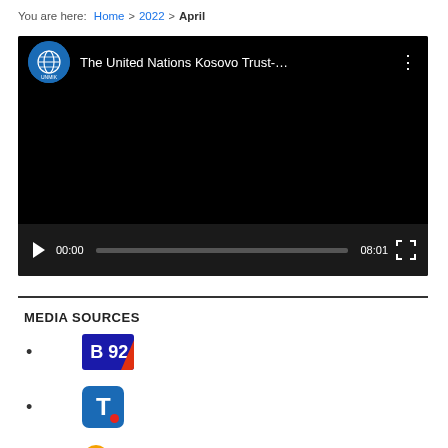You are here: Home > 2022 > April
[Figure (screenshot): YouTube-style video player showing UNMIK (United Nations Kosovo Trust-...) video, 8:01 duration, paused at 00:00]
MEDIA SOURCES
B92
T (logo)
ALJAZEERA Balkans